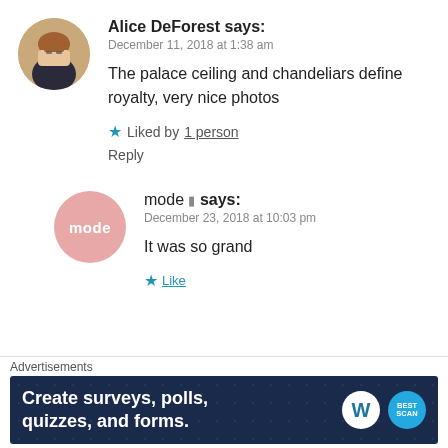Alice DeForest says:
December 11, 2018 at 1:38 am
The palace ceiling and chandeliars define royalty, very nice photos
Liked by 1 person
Reply
mode says:
December 23, 2018 at 10:03 pm
It was so grand
Like
Advertisements
Create surveys, polls, quizzes, and forms.